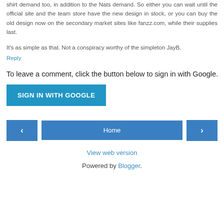shirt demand too, in addition to the Nats demand. So either you can wait until the official site and the team store have the new design in stock, or you can buy the old design now on the secondary market sites like fanzz.com, while their supplies last.
It's as simple as that. Not a conspiracy worthy of the simpleton JayB.
Reply
To leave a comment, click the button below to sign in with Google.
SIGN IN WITH GOOGLE
[Figure (other): Navigation buttons: left arrow, Home button, right arrow]
View web version
Powered by Blogger.